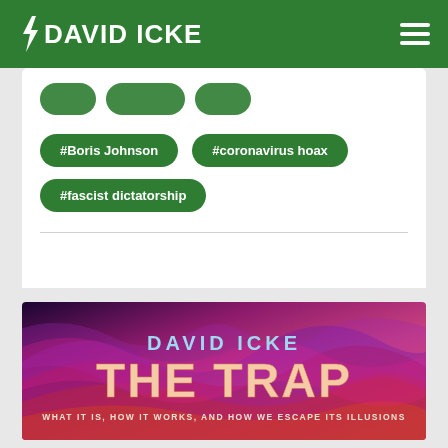DAVID ICKE
#Boris Johnson
#coronavirus hoax
#fascist dictatorship
[Figure (illustration): David Icke 'The Trap' book promotional banner with colorful wave/fluid abstract background in purples, pinks, and reds. Text reads: DAVID ICKE THE TRAP WHAT IT IS, HOW IT WORKS, AND HOW WE ESCAPE ITS ILLUSIONS]